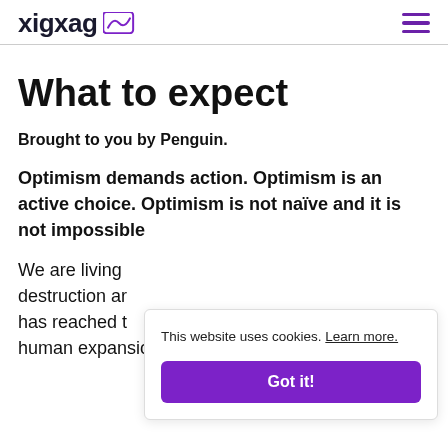xigxag [logo icon]
What to expect
Brought to you by Penguin.
Optimism demands action. Optimism is an active choice. Optimism is not naïve and it is not impossible
We are living [in an age of] destruction ar[ound us...] has reached t[he point where] human expansion has caused the extinction
This website uses cookies. Learn more.
Got it!